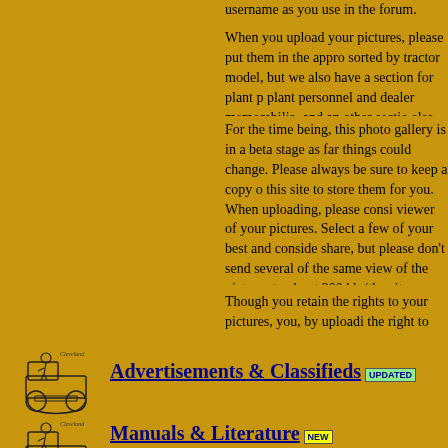username as you use in the forum.
When you upload your pictures, please put them in the appro sorted by tractor model, but we also have a section for plant p plant personnel and dealer memorabilia, and an other sectio else. If you can't figure out where something goes, send Blak
For the time being, this photo gallery is in a beta stage as far things could change. Please always be sure to keep a copy o this site to store them for you. When uploading, please consi viewer of your pictures. Select a few of your best and conside share, but please don't send several of the same view of the pictures to about 200 kb (the site should automatically resize description with each photo so people know what they are lo
Though you retain the rights to your pictures, you, by uploadi the right to edit or delete them at any time and for any reason
[Figure (illustration): Cletrac tractor with operator illustration]
Advertisements & Classifieds UPDATED
[Figure (illustration): Cletrac tractor with operator illustration]
Manuals & Literature NEW
Now you can download Manuals and other Literature related Selection will grow with time. Ask if you can contribute.
[Figure (illustration): Cletrac tractor with operator illustration]
Cletrac Discussion Forum UPDATED